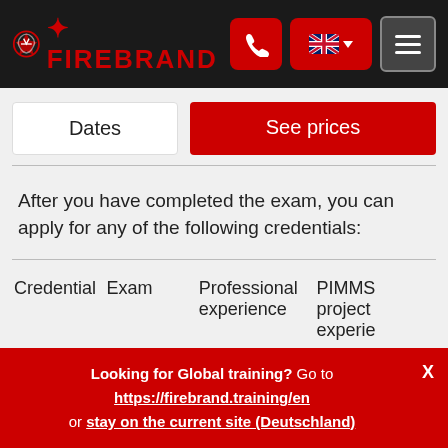FIREBRAND
After you have completed the exam, you can apply for any of the following credentials:
| Credential | Exam | Professional experience | PIMMS project experie |
| --- | --- | --- | --- |
Looking for Global training? Go to https://firebrand.training/en or stay on the current site (Deutschland)